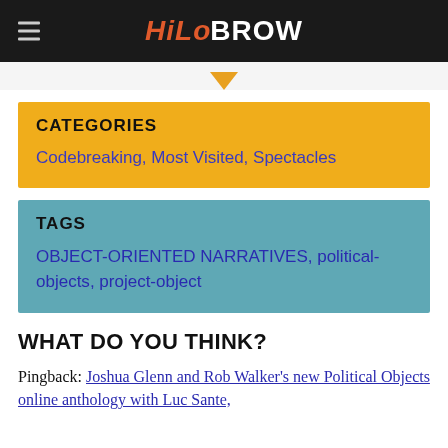HiloBrow
CATEGORIES
Codebreaking, Most Visited, Spectacles
TAGS
OBJECT-ORIENTED NARRATIVES, political-objects, project-object
WHAT DO YOU THINK?
Pingback: Joshua Glenn and Rob Walker's new Political Objects online anthology with Luc Sante,